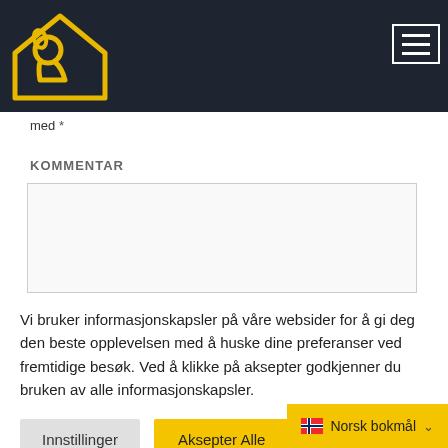[Figure (logo): Dog inside house outline logo in yellow/gold on dark background, with hamburger menu icon top right]
med *
KOMMENTAR
Vi bruker informasjonskapsler på våre websider for å gi deg den beste opplevelsen med å huske dine preferanser ved fremtidige besøk. Ved å klikke på aksepter godkjenner du bruken av alle informasjonskapsler.
Innstillinger   Aksepter Alle
Norsk bokmål